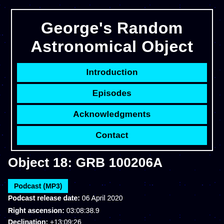George's Random Astronomical Object
Introduction
Episodes
Acknowledgments
Contact
Object 18: GRB 100206A
Podcast (MP3)
Podcast release date: 06 April 2020
Right ascension: 03:08:38.9
Declination: +13:09:26
Epoch: J2000
Constellation: Aires